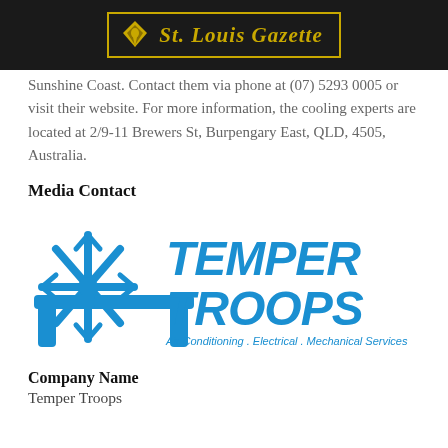St. Louis Gazette
Sunshine Coast. Contact them via phone at (07) 5293 0005 or visit their website. For more information, the cooling experts are located at 2/9-11 Brewers St, Burpengary East, QLD, 4505, Australia.
Media Contact
[Figure (logo): Temper Troops logo — blue snowflake icon on left, blue stylized TT monogram, and TEMPER TROOPS text in bold blue italic font with tagline 'Air Conditioning . Electrical . Mechanical Services']
Company Name
Temper Troops